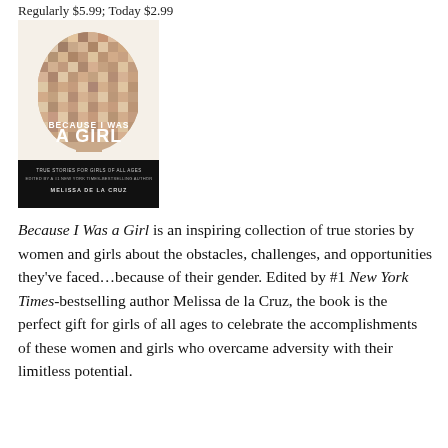Regularly $5.99; Today $2.99
[Figure (illustration): Book cover of 'Because I Was a Girl' edited by Melissa de la Cruz. Features a silhouette of a head made of collaged photos of diverse women and girls. Title text reads 'BECAUSE I WAS A GIRL' in large block letters. Subtitle reads 'TRUE STORIES FOR GIRLS OF ALL AGES'. Author listed as MELISSA DE LA CRUZ.]
Because I Was a Girl is an inspiring collection of true stories by women and girls about the obstacles, challenges, and opportunities they’ve faced…because of their gender. Edited by #1 New York Times-bestselling author Melissa de la Cruz, the book is the perfect gift for girls of all ages to celebrate the accomplishments of these women and girls who overcame adversity with their limitless potential.